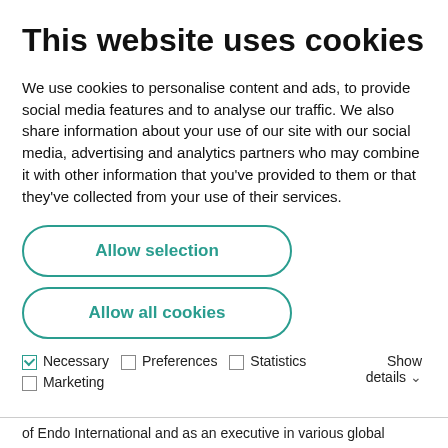This website uses cookies
We use cookies to personalise content and ads, to provide social media features and to analyse our traffic. We also share information about your use of our site with our social media, advertising and analytics partners who may combine it with other information that you've provided to them or that they've collected from your use of their services.
Allow selection
Allow all cookies
✓ Necessary  □ Preferences  □ Statistics  □ Marketing  Show details ∨
of Endo International and as an executive in various global